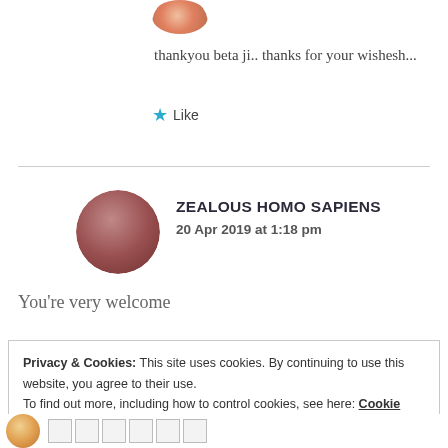[Figure (photo): Circular avatar image at top, colorful profile picture]
thankyou beta ji.. thanks for your wishesh...
★ Like
ZEALOUS HOMO SAPIENS
20 Apr 2019 at 1:18 pm
[Figure (photo): Circular avatar of person with dark hair and reddish-brown tones]
You're very welcome
Privacy & Cookies: This site uses cookies. By continuing to use this website, you agree to their use.
To find out more, including how to control cookies, see here: Cookie Policy
Close and accept
[Figure (photo): Bottom avatar image partial view]